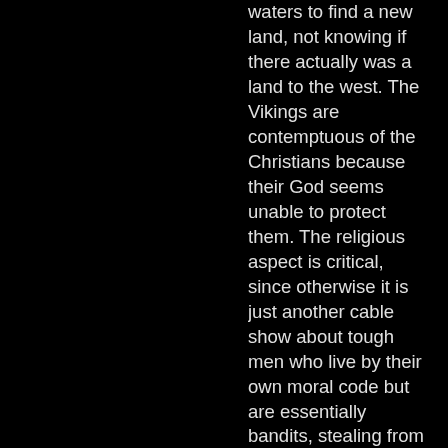waters to find a new land, not knowing if there actually was a land to the west. The Vikings are contemptuous of the Christians because their God seems unable to protect them. The religious aspect is critical, since otherwise it is just another cable show about tough men who live by their own moral code but are essentially bandits, stealing from those too weak to defend themselves. While the most...